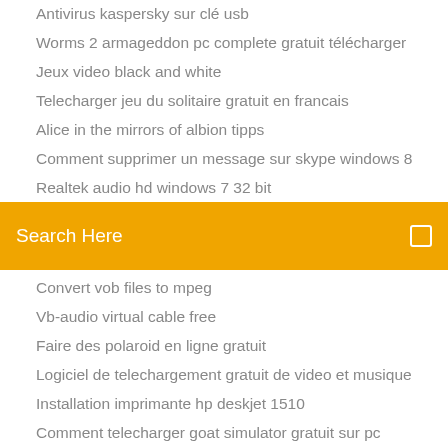Antivirus kaspersky sur clé usb
Worms 2 armageddon pc complete gratuit télécharger
Jeux video black and white
Telecharger jeu du solitaire gratuit en francais
Alice in the mirrors of albion tipps
Comment supprimer un message sur skype windows 8
Realtek audio hd windows 7 32 bit
[Figure (screenshot): Orange search bar with 'Search Here' placeholder text and a search icon on the right]
Convert vob files to mpeg
Vb-audio virtual cable free
Faire des polaroid en ligne gratuit
Logiciel de telechargement gratuit de video et musique
Installation imprimante hp deskjet 1510
Comment telecharger goat simulator gratuit sur pc
Comment supprimer un message sur skype windows 8
Telecharger gta 3 android apk
Telecharger musique sur iphone 5c
Installer adblock chrome windows 10